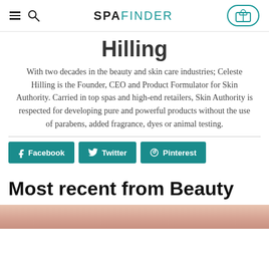SPAFINDER
Hilling
With two decades in the beauty and skin care industries; Celeste Hilling is the Founder, CEO and Product Formulator for Skin Authority. Carried in top spas and high-end retailers, Skin Authority is respected for developing pure and powerful products without the use of parabens, added fragrance, dyes or animal testing.
Facebook
Twitter
Pinterest
Most recent from Beauty
[Figure (photo): Partial image of a person at the bottom of the page]